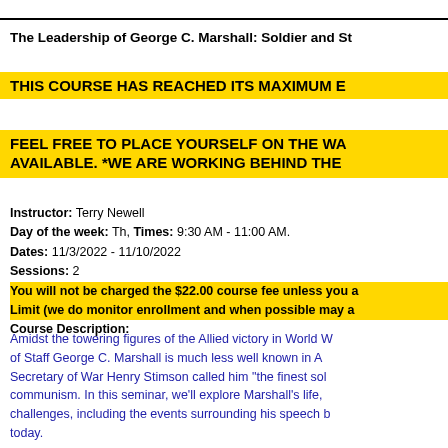The Leadership of George C. Marshall: Soldier and St
THIS COURSE HAS REACHED ITS MAXIMUM E
FEEL FREE TO PLACE YOURSELF ON THE WA AVAILABLE. *WE ARE WORKING BEHIND THE
Instructor: Terry Newell
Day of the week: Th, Times: 9:30 AM - 11:00 AM.
Dates: 11/3/2022 - 11/10/2022
Sessions: 2
You will not be charged the $22.00 course fee unless you a Limit (we do monitor enrollment and when possible may a
Course Description:
Amidst the towering figures of the Allied victory in World W of Staff George C. Marshall is much less well known in A Secretary of War Henry Stimson called him "the finest so communism. In this seminar, we'll explore Marshall's life, challenges, including the events surrounding his speech b today.